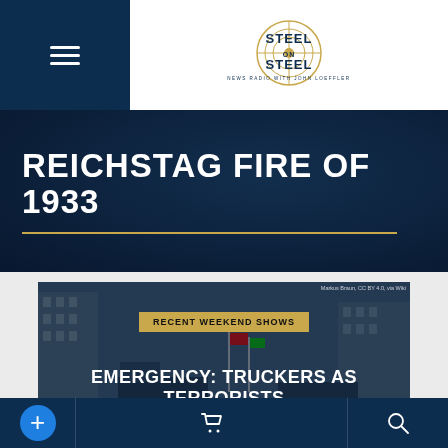Steel on Steel — News Radio with John Loeffler
REICHSTAG FIRE OF 1933
[Figure (photo): Background photo of protest/convoy scene with trucks and flags in a city street, used as card background image]
RECENT WEEKEND SHOWS
EMERGENCY: TRUCKERS AS TERRORISTS
BROADCAST RUNNING TIME:
Navigation toolbar with add, cart, and search buttons